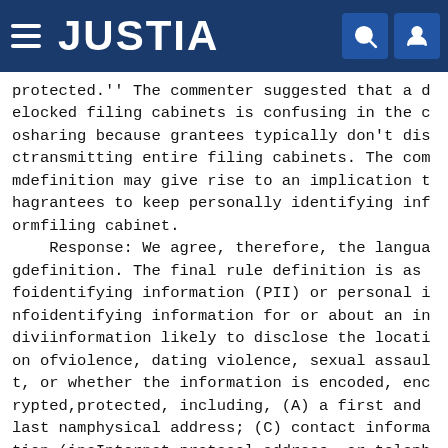JUSTIA
protected.'' The commenter suggested that a definition of locked filing cabinets is confusing in the context of information sharing because grantees typically don't disclose information by transmitting entire filing cabinets. The commenter noted that the definition may give rise to an implication that the rule requires grantees to keep personally identifying information in the same filing cabinet.
    Response: We agree, therefore, the language has changed in the definition. The final rule definition is as follows: Personally identifying information (PII) or personal information means individually identifying information for or about an individual, including information likely to disclose the location of a victim of domestic violence, dating violence, sexual assault, or stalking, regardless of whether the information is encoded, encrypted, hashed, or otherwise protected, including, (A) a first and last name; (B) a home or other physical address; (C) contact information (including a postal, email, Internet protocol address, or telephone or fax number);